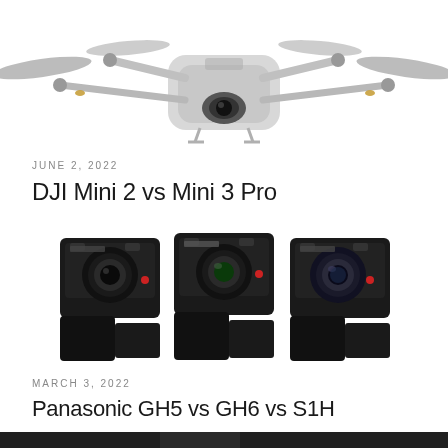[Figure (photo): White DJI Mini 3 Pro drone with extended arms and propellers, viewed from front, on white background]
JUNE 2, 2022
DJI Mini 2 vs Mini 3 Pro
[Figure (photo): Three Panasonic Lumix cameras (GH5, GH6, S1H) side by side, showing front lens mounts, on white background]
MARCH 3, 2022
Panasonic GH5 vs GH6 vs S1H
[Figure (photo): Partial view of a third article image at the bottom of the page, appears dark/dramatic]